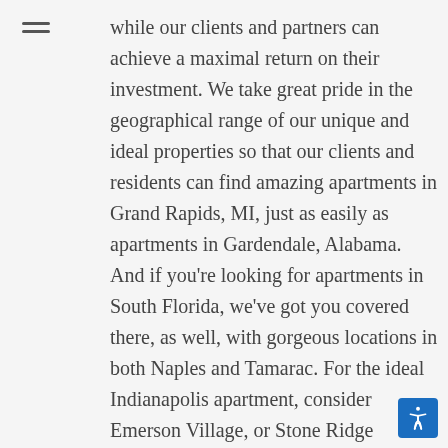while our clients and partners can achieve a maximal return on their investment. We take great pride in the geographical range of our unique and ideal properties so that our clients and residents can find amazing apartments in Grand Rapids, MI, just as easily as apartments in Gardendale, Alabama. And if you're looking for apartments in South Florida, we've got you covered there, as well, with gorgeous locations in both Naples and Tamarac. For the ideal Indianapolis apartment, consider Emerson Village, or Stone Ridge apartments; three examples of AMP's convenient and luxurious properties, all within the same great city. Whether you're looking for your next apartment home or your next big investment, we look forward to hearing from you to discuss your exciting future endeavors with AMR Residential!